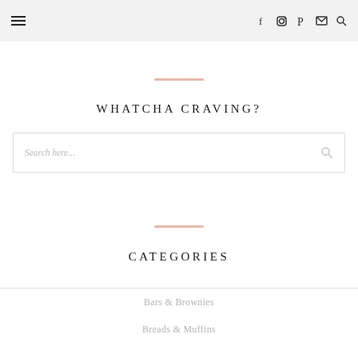☰  f  ig   pinterest  mail  search
WHATCHA CRAVING?
Search here...
CATEGORIES
Bars & Brownies
Breads & Muffins